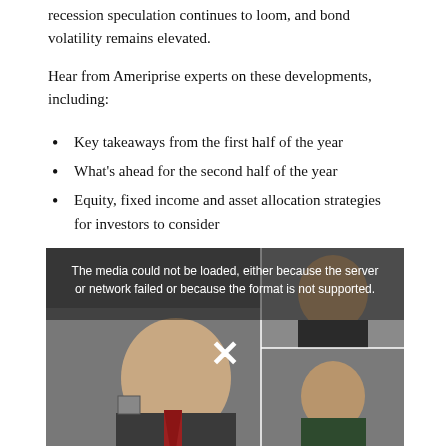recession speculation continues to loom, and bond volatility remains elevated.
Hear from Ameriprise experts on these developments, including:
Key takeaways from the first half of the year
What's ahead for the second half of the year
Equity, fixed income and asset allocation strategies for investors to consider
[Figure (photo): Video player showing three people in business attire on a video call, with a media error overlay message: 'The media could not be loaded, either because the server or network failed or because the format is not supported.' with an X icon in the center.]